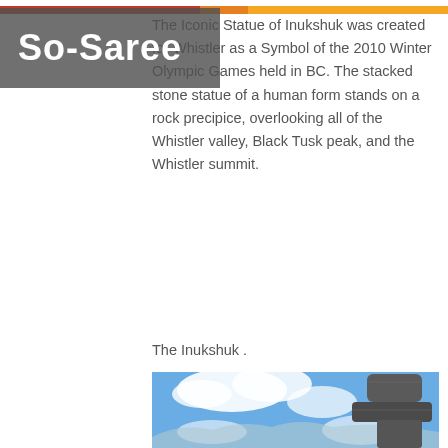So-Saree
The Iconic Statue of Inukshuk was created for Whistler as a Symbol of the 2010 Winter Olympic Games held in BC. The stacked stone statue of a human form stands on a rock precipice, overlooking all of the Whistler valley, Black Tusk peak, and the Whistler summit.
The Inukshuk .
[Figure (photo): Close-up photograph of the Inukshuk stone statue against a blue sky with clouds, showing stacked dark rocks forming the iconic human-like silhouette, with snow-capped mountains visible in the background.]